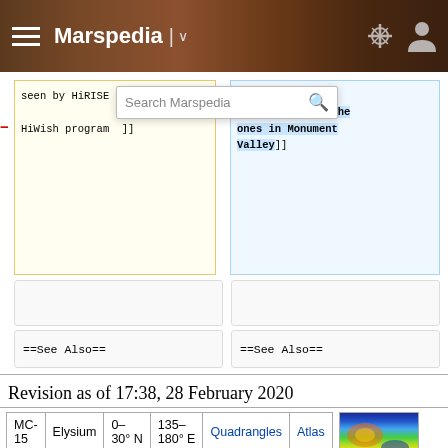Marspedia
seen by HiRISE under HiWish program ]]
seen by HiRISE under HiWish program
These are like the ones in Monument Valley]]
==See Also==
==See Also==
Revision as of 17:38, 28 February 2020
|  |  |  |  |  |  |  |
| --- | --- | --- | --- | --- | --- | --- |
| MC-15 | Elysium | 0–30° N | 135–180° E | Quadrangles | Atlas |  |
[Figure (map): Colorized topographic map thumbnail of Elysium region]
[Figure (map): Large colorized topographic map of Elysium quadrangle on Mars]